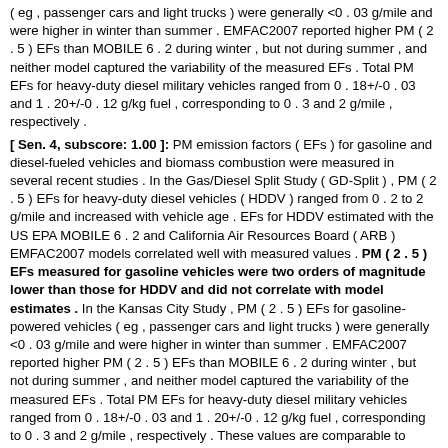( eg , passenger cars and light trucks ) were generally <0 . 03 g/mile and were higher in winter than summer . EMFAC2007 reported higher PM ( 2 . 5 ) EFs than MOBILE 6 . 2 during winter , but not during summer , and neither model captured the variability of the measured EFs . Total PM EFs for heavy-duty diesel military vehicles ranged from 0 . 18+/-0 . 03 and 1 . 20+/-0 . 12 g/kg fuel , corresponding to 0 . 3 and 2 g/mile , respectively .
[ Sen. 4, subscore: 1.00 ]: PM emission factors ( EFs ) for gasoline and diesel-fueled vehicles and biomass combustion were measured in several recent studies . In the Gas/Diesel Split Study ( GD-Split ) , PM ( 2 . 5 ) EFs for heavy-duty diesel vehicles ( HDDV ) ranged from 0 . 2 to 2 g/mile and increased with vehicle age . EFs for HDDV estimated with the US EPA MOBILE 6 . 2 and California Air Resources Board ( ARB ) EMFAC2007 models correlated well with measured values . PM ( 2 . 5 ) EFs measured for gasoline vehicles were two orders of magnitude lower than those for HDDV and did not correlate with model estimates . In the Kansas City Study , PM ( 2 . 5 ) EFs for gasoline-powered vehicles ( eg , passenger cars and light trucks ) were generally <0 . 03 g/mile and were higher in winter than summer . EMFAC2007 reported higher PM ( 2 . 5 ) EFs than MOBILE 6 . 2 during winter , but not during summer , and neither model captured the variability of the measured EFs . Total PM EFs for heavy-duty diesel military vehicles ranged from 0 . 18+/-0 . 03 and 1 . 20+/-0 . 12 g/kg fuel , corresponding to 0 . 3 and 2 g/mile , respectively . These values are comparable to those of on-road HDDV .
[ Sen. 5, subscore: 1.00 ]: PM emission factors ( EFs ) for gasoline and diesel-fueled vehicles and biomass combustion were measured in several recent studies . In the Gas/Diesel Split Study ( GD-Split ) , PM ( 2 . 5 ) EFs for heavy-duty diesel vehicles ( HDDV ) ranged from 0 . 2 to 2 g/mile and increased with vehicle age . EFs for HDDV estimated with the US EPA MOBILE 6 . 2 and California Air Resources Board ( ARB )